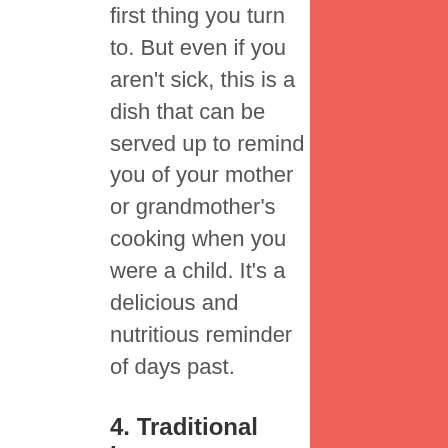first thing you turn to. But even if you aren't sick, this is a dish that can be served up to remind you of your mother or grandmother's cooking when you were a child. It's a delicious and nutritious reminder of days past.
4. Traditional Lasagna
Who said there would be no worldliness in this list? Traditional lasagna is of course from Italy. This country is the home of most pasta dishes, and it is definitely the home of lasagna.